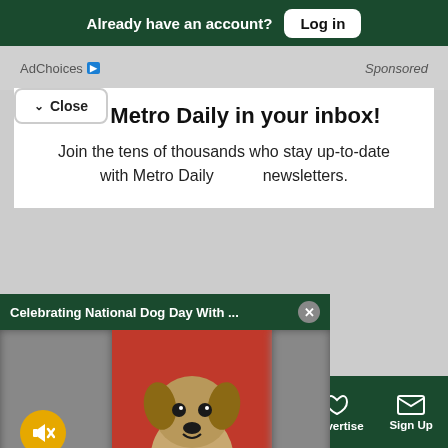Already have an account? Log in
AdChoices  Sponsored
Close
Related Articles
Get Metro Daily in your inbox!
Join the tens of thousands who stay up-to-date with Metro Daily newsletters.
[Figure (screenshot): Video popup showing 'Celebrating National Dog Day With ...' with an X close button. Below is a video player showing a Yorkshire Terrier dog on a red background with 'BENN' text visible, a yellow mute button on the left, and blurred content on both sides.]
tter
Sections  NY Edition  Philly  Games  Advertise  Sign Up